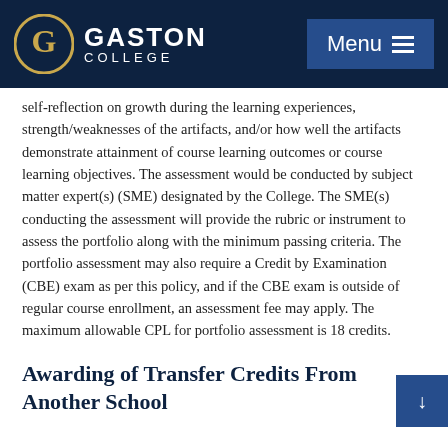Gaston College
self-reflection on growth during the learning experiences, strength/weaknesses of the artifacts, and/or how well the artifacts demonstrate attainment of course learning outcomes or course learning objectives. The assessment would be conducted by subject matter expert(s) (SME) designated by the College. The SME(s) conducting the assessment will provide the rubric or instrument to assess the portfolio along with the minimum passing criteria. The portfolio assessment may also require a Credit by Examination (CBE) exam as per this policy, and if the CBE exam is outside of regular course enrollment, an assessment fee may apply. The maximum allowable CPL for portfolio assessment is 18 credits.
Awarding of Transfer Credits From Another School